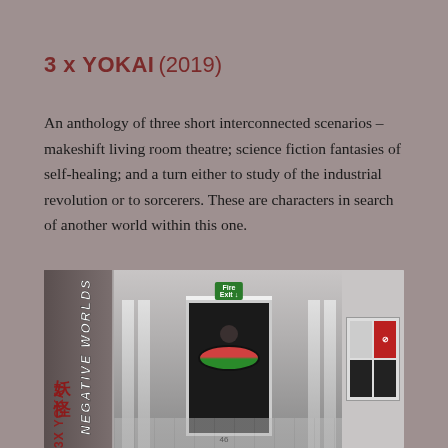3 x YOKAI (2019)
An anthology of three short interconnected scenarios – makeshift living room theatre; science fiction fantasies of self-healing; and a turn either to study of the industrial revolution or to sorcerers. These are characters in search of another world within this one.
[Figure (photo): A photograph showing a corridor scene with a person wearing a large watermelon-shaped inflatable ring around their torso, standing near a doorway. On the left side of the image are vertical text overlays reading '3X YOKAI', 'NEGATIVE WORLDS' and Chinese characters for yokai (妖怪). A green fire exit sign is visible above the doorway. On the right side is a notice board with a no-smoking sign.]